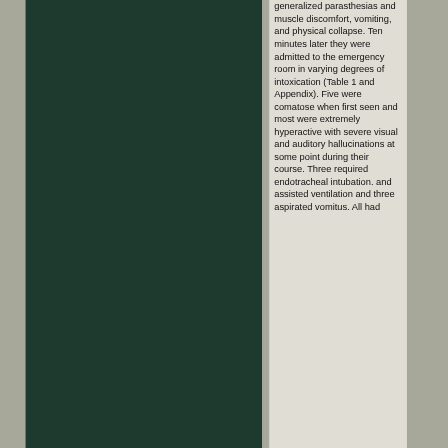[Figure (photo): Dark green/teal colored rectangular image occupying the left portion of the page]
generalized parasthesias and muscle discomfort, vomiting, and physical collapse. Ten minutes later they were admitted to the emergency room in varying degrees of intoxication (Table 1 and Appendix). Five were comatose when first seen and most were extremely hyperactive with severe visual and auditory hallucinations at some point during their course. Three required endotracheal intubation. and assisted ventilation and three aspirated vomitus. All had